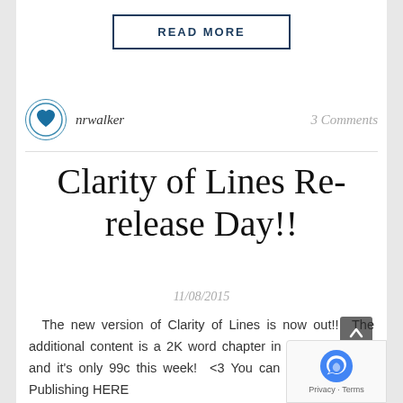READ MORE
[Figure (logo): nrwalker author avatar — circular icon with heart logo]
nrwalker
3 Comments
Clarity of Lines Re-release Day!!
11/08/2015
The new version of Clarity of Lines is now out!!  The additional content is a 2K word chapter in Cooper's POV, and it's only 99c this week!  <3 You can buy it at Pride Publishing HERE